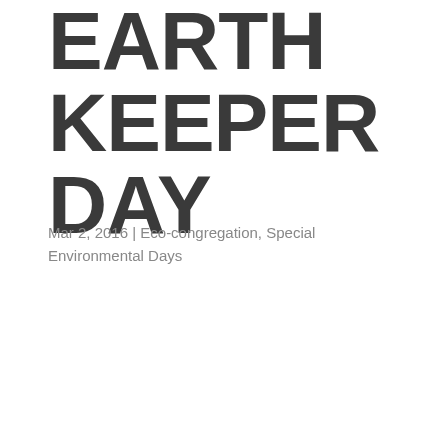EARTH KEEPER DAY
Mar 2, 2016 | Eco-congregation, Special Environmental Days